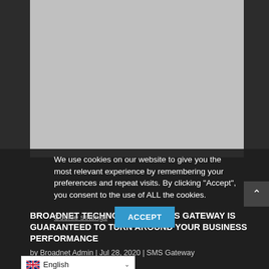[Figure (photo): Gray placeholder image for blog post hero image, approximately 356x262px]
We use cookies on our website to give you the most relevant experience by remembering your preferences and repeat visits. By clicking “Accept”, you consent to the use of ALL the cookies.
Cookie settings | ACCEPT
BROADNET TECHNOLOGIES – SMS GATEWAY IS GUARANTEED TO TURN AROUND YOUR BUSINESS PERFORMANCE
by Broadnet Admin | Jul 28, 2020 | SMS Gateway
English